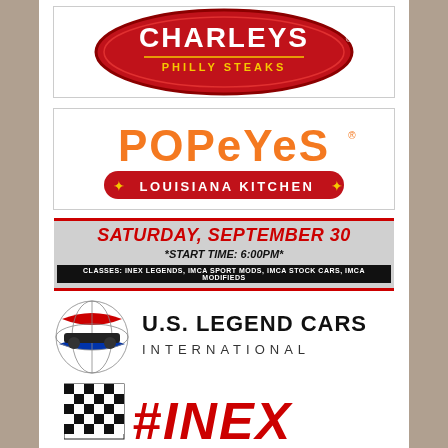[Figure (logo): Charleys Philly Steaks logo - red oval with white text]
[Figure (logo): Popeyes Louisiana Kitchen logo - orange text with red pill-shaped banner]
SATURDAY, SEPTEMBER 30 *START TIME: 6:00PM* CLASSES: INEX LEGENDS, IMCA SPORT MODS, IMCA STOCK CARS, IMCA MODIFIEDS
[Figure (logo): U.S. Legend Cars International logo with globe and car silhouette]
[Figure (logo): INEX logo with checkered flag pattern and red italic text]